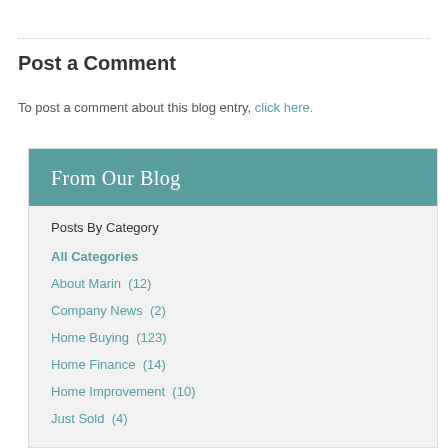Post a Comment
To post a comment about this blog entry, click here.
From Our Blog
Posts By Category
All Categories
About Marin  (12)
Company News  (2)
Home Buying  (123)
Home Finance  (14)
Home Improvement  (10)
Just Sold  (4)